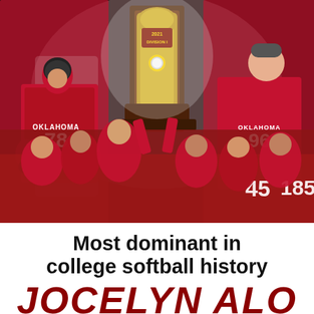[Figure (photo): Collage of Oklahoma Sooners softball players in red uniforms celebrating a championship win. Features player #78 on left, a large golden trophy in center, player #96 on right celebrating, and the full team group at bottom holding the trophy aloft. Red color scheme throughout.]
Most dominant in college softball history
JOCELYN ALO